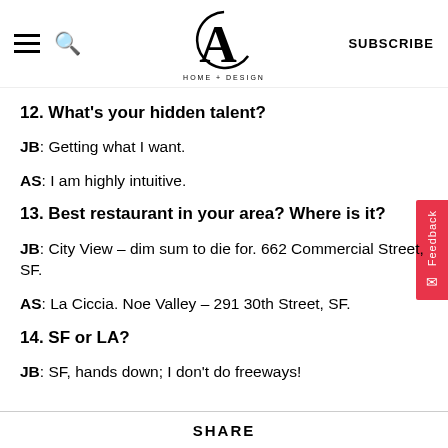CA HOME + DESIGN | SUBSCRIBE
12. What's your hidden talent?
JB: Getting what I want.
AS: I am highly intuitive.
13. Best restaurant in your area? Where is it?
JB: City View – dim sum to die for. 662 Commercial Street, SF.
AS: La Ciccia. Noe Valley – 291 30th Street, SF.
14. SF or LA?
JB: SF, hands down; I don't do freeways!
SHARE